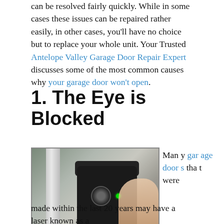can be resolved fairly quickly. While in some cases these issues can be repaired rather easily, in other cases, you'll have no choice but to replace your whole unit. Your Trusted Antelope Valley Garage Door Repair Expert discusses some of the most common causes why your garage door won't open.
1. The Eye is Blocked
[Figure (photo): Close-up photo of a person holding a garage door sensor/eye device. The sensor is a small black rectangular device with a lens and green indicator light. A white PVC pipe is visible on the left side of the image.]
Many garage doors that were made within the last 20 years may have a laser known as a